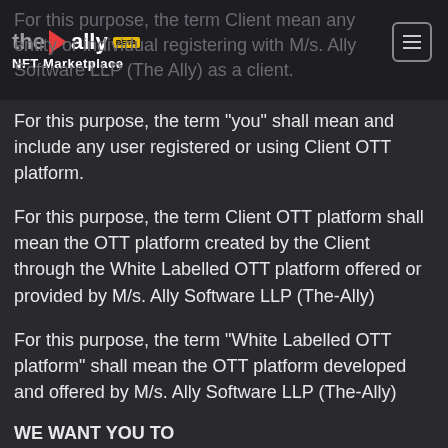the ally NFT Marketplace BETA
For this purpose, the term Client mean any entity or individual registering with M/s. Ally Software LLP (The Ally) as a client.
For this purpose, the term “you” shall mean and include any user registered or using Client OTT platform.
For this purpose, the term Client OTT platform shall mean the OTT platform created by the Client through the White Labelled OTT platform offered or provided by M/s. Ally Software LLP (The-Ally)
For this purpose, the term “White Labelled OTT platform” shall mean the OTT platform developed and offered by M/s. Ally Software LLP (The-Ally)
WE WANT YOU TO
• Feel comfortable using the Client OTT platform